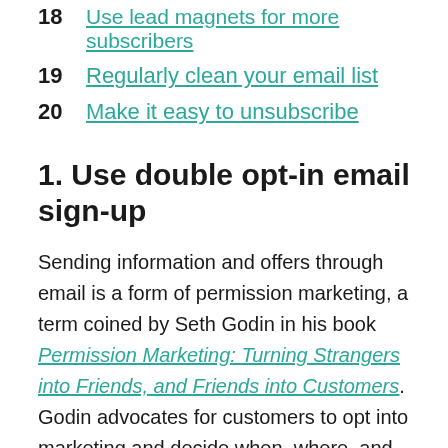18  Use lead magnets for more subscribers
19  Regularly clean your email list
20  Make it easy to unsubscribe
1. Use double opt-in email sign-up
Sending information and offers through email is a form of permission marketing, a term coined by Seth Godin in his book Permission Marketing: Turning Strangers into Friends, and Friends into Customers. Godin advocates for customers to opt into marketing and decide when, where, and how they're advertised to, suggesting this is the most effective (and respectful) way to turn onlookers into